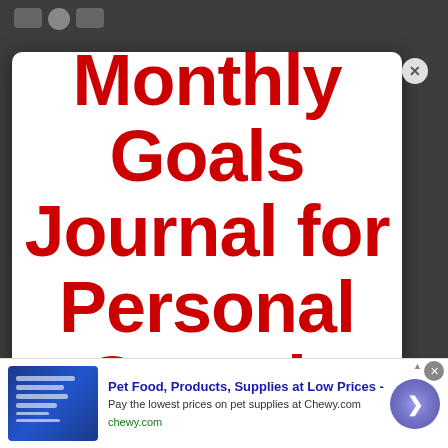[Figure (screenshot): Screenshot of a web browser modal popup on a dark background showing a book cover or promotional image for 'Monthly Goals Journal for Personal Growth' in large bold red text on a white card. Below the modal is a Chewy.com advertisement banner: 'Pet Food, Products, Supplies at Low Prices - Pay the lowest prices on pet supplies at Chewy.com'.]
Monthly Goals Journal for Personal Growth
Pet Food, Products, Supplies at Low Prices - Pay the lowest prices on pet supplies at Chewy.com chewy.com